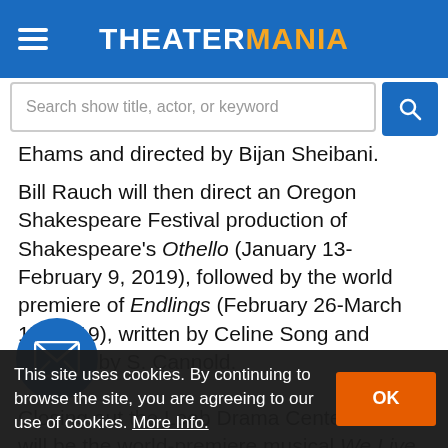THEATERMANIA
Search show title, actor, or keyword
Ehams and directed by Bijan Sheibani.
Bill Rauch will then direct an Oregon Shakespeare Festival production of Shakespeare's Othello (January 13-February 9, 2019), followed by the world premiere of Endlings (February 26-March 17, 2019), written by Celine Song and directed by S. Cannold.
Closing out the Loeb Drama Center season will be the world-premiere musical We Live in Cairo (May 14-J... Hagar, the produ... Daniel and Patrick Lazour.
This site uses cookies. By continuing to browse the site, you are agreeing to our use of cookies. More Info.